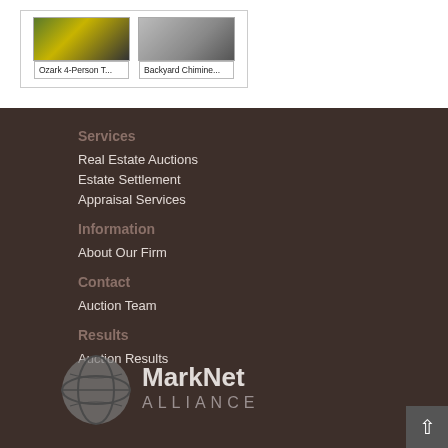[Figure (photo): Product thumbnail image for Ozark 4-Person T...]
Ozark 4-Person T...
[Figure (photo): Product thumbnail image for Backyard Chimine...]
Backyard Chimine...
Services
Real Estate Auctions
Estate Settlement
Appraisal Services
Information
About Our Firm
Contact
Auction Team
Results
Auction Results
[Figure (logo): MarkNet Alliance logo with globe icon]